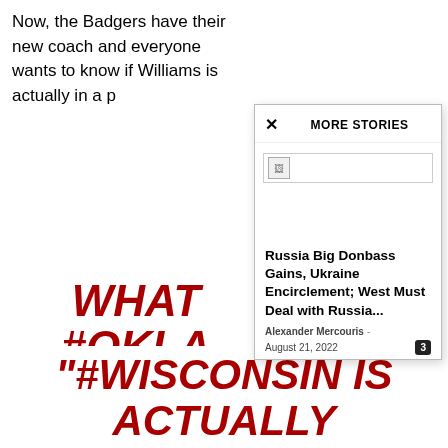Now, the Badgers have their new coach and everyone wants to know if Williams will follow a recruiting strategy that is actually in a p…
MORE STORIES
[Figure (screenshot): Broken image placeholder in modal]
Russia Big Donbass Gains, Ukraine Encirclement; West Must Deal with Russia...
Alexander Mercouris  -  August 21, 2022
WHAT #OKLA CALE CHANG THE # FROM
"#WISCONSIN IS ACTUALLY